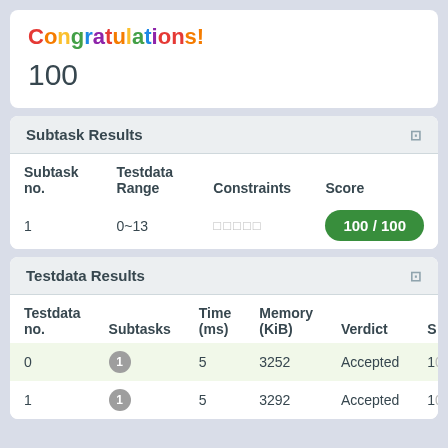Congratulations!
100
Subtask Results
| Subtask no. | Testdata Range | Constraints | Score |
| --- | --- | --- | --- |
| 1 | 0~13 | □□□□□ | 100 / 100 |
Testdata Results
| Testdata no. | Subtasks | Time (ms) | Memory (KiB) | Verdict | S |
| --- | --- | --- | --- | --- | --- |
| 0 | 1 | 5 | 3252 | Accepted | 10 |
| 1 | 1 | 5 | 3292 | Accepted | 10 |